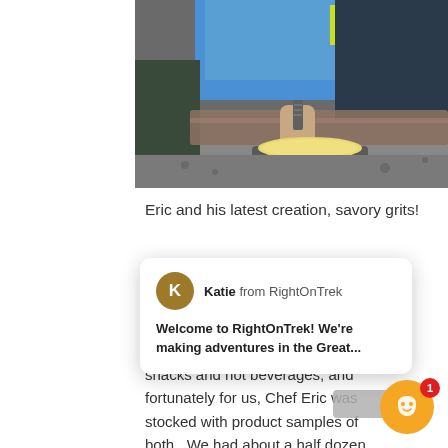[Figure (photo): Person in blue and black jacket sitting outdoors, stirring or grating into a camp cooking pot with yellow/cream colored food (savory grits). Wooden logs and gravel in background.]
Eric and his latest creation, savory grits!
It was a sligh packed up o broke down multi-day m snacks and hot beverages, and fortunately for us, Chef Eric was stocked with product samples of both.  We had about a half dozen
[Figure (screenshot): Chat popup overlay showing avatar K (Katie from RightOnTrek) with message: Welcome to RightOnTrek! We're making adventures in the Great...]
[Figure (other): Orange chat button with smiley face icon and red badge showing number 1]